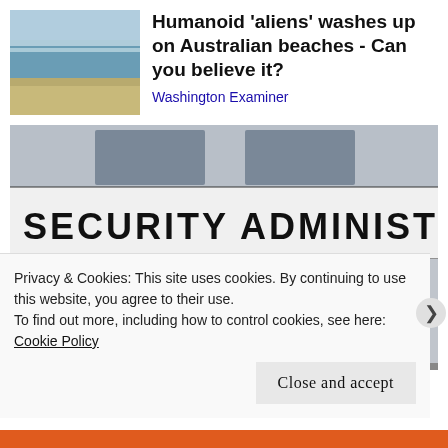[Figure (photo): Beach scene with waves and sandy shore, thumbnail image]
Humanoid 'aliens' washes up on Australian beaches - Can you believe it?
Washington Examiner
[Figure (photo): Social Security Administration building exterior with large sign reading SOCIAL SECURITY ADMINISTRATION, two entrance doors with red bollards]
Privacy & Cookies: This site uses cookies. By continuing to use this website, you agree to their use.
To find out more, including how to control cookies, see here: Cookie Policy
Close and accept